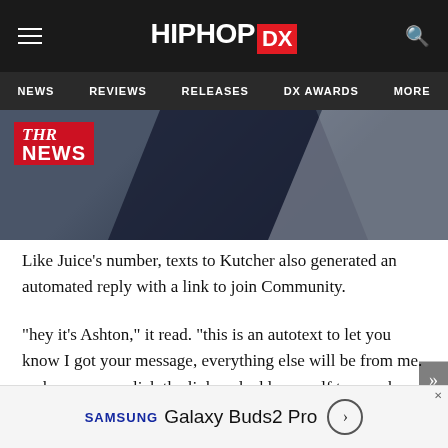HIPHOP DX — NEWS | REVIEWS | RELEASES | DX AWARDS | MORE
[Figure (photo): THR News logo overlay on a photograph of a person in a dark blue jacket, appearing to be in an interview or panel setting]
Like Juice’s number, texts to Kutcher also generated an automated reply with a link to join Community.
“hey it’s Ashton,” it read. “this is an autotext to let you know I got your message, everything else will be from me. make sure you click the link and add yourself to my phone so I can respond to you.”
According to Wired, Community is the new name of Shimmur, Inc. The company launched in 2014 and allowed users to… perso… een